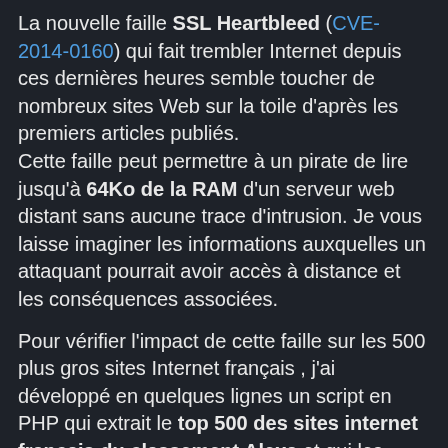La nouvelle faille SSL Heartbleed (CVE-2014-0160) qui fait trembler Internet depuis ces dernières heures semble toucher de nombreux sites Web sur la toile d'après les premiers articles publiés. Cette faille peut permettre à un pirate de lire jusqu'à 64Ko de la RAM d'un serveur web distant sans aucune trace d'intrusion. Je vous laisse imaginer les informations auxquelles un attaquant pourrait avoir accès à distance et les conséquences associées.
Pour vérifier l'impact de cette faille sur les 500 plus gros sites Internet français , j'ai développé en quelques lignes un script en PHP qui extrait le top 500 des sites internet français du classement Alexa et qui les audite grâce à l'application Heartbleeder...